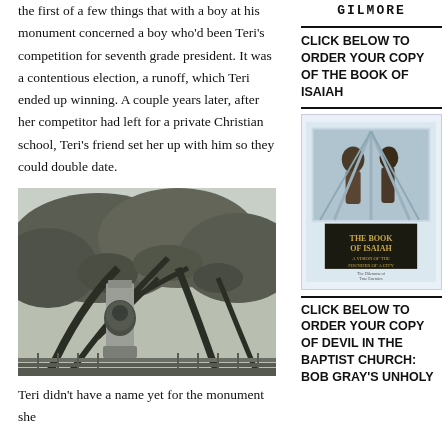the first of a few things that with a boy at his monument concerned a boy who'd been Teri's competition for seventh grade president. It was a contentious election, a runoff, which Teri ended up winning. A couple years later, after her competitor had left for a private Christian school, Teri's friend set her up with him so they could double date.
[Figure (photo): Black and white photo of a stone monument or obelisk surrounded by large live oak trees draped with Spanish moss]
Teri didn't have a name yet for the monument she
[Figure (logo): GILMORE logo in bold monospace uppercase letters]
CLICK BELOW TO ORDER YOUR COPY OF THE BOOK OF ISAIAH
[Figure (photo): Book cover of 'The Book of Isaiah: A Vision of the Founder of a City' with illustrated figures on a light blue background]
CLICK BELOW TO ORDER YOUR COPY OF DEVIL IN THE BAPTIST CHURCH: BOB GRAY'S UNHOLY